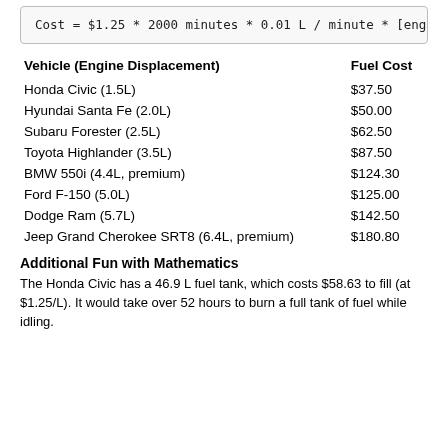| Vehicle (Engine Displacement) | Fuel Cost |
| --- | --- |
| Honda Civic (1.5L) | $37.50 |
| Hyundai Santa Fe (2.0L) | $50.00 |
| Subaru Forester (2.5L) | $62.50 |
| Toyota Highlander (3.5L) | $87.50 |
| BMW 550i (4.4L, premium) | $124.30 |
| Ford F-150 (5.0L) | $125.00 |
| Dodge Ram (5.7L) | $142.50 |
| Jeep Grand Cherokee SRT8 (6.4L, premium) | $180.80 |
Additional Fun with Mathematics
The Honda Civic has a 46.9 L fuel tank, which costs $58.63 to fill (at $1.25/L). It would take over 52 hours to burn a full tank of fuel while idling.